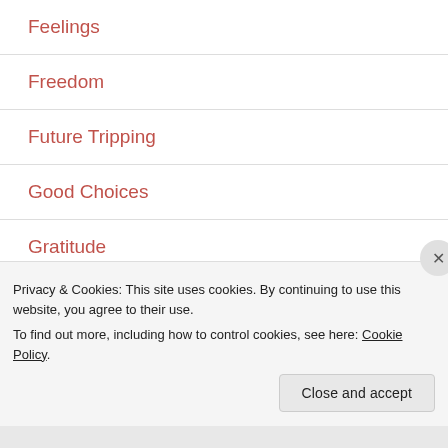Feelings
Freedom
Future Tripping
Good Choices
Gratitude
Growth
Happiness
Privacy & Cookies: This site uses cookies. By continuing to use this website, you agree to their use.
To find out more, including how to control cookies, see here: Cookie Policy
Close and accept